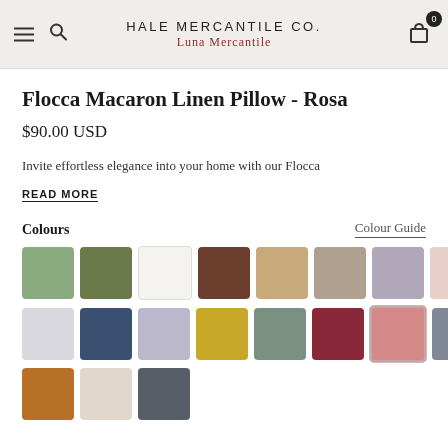HALE MERCANTILE CO. | Luna Mercantile
Flocca Macaron Linen Pillow - Rosa
$90.00 USD
Invite effortless elegance into your home with our Flocca
READ MORE
Colours
Colour Guide
[Figure (infographic): A grid of color swatches showing 19 color options for the pillow. Row 1: sage green, olive green, white/cream, brown, tan/khaki, taupe/gray, lavender/mauve, blush pink. Row 2: light gray, navy blue, light purple/periwinkle, mustard yellow, sage green, dark red/burgundy, rosa/dusty pink (selected with border), slate blue. Row 3: burnt orange/amber, cream/linen, dark charcoal gray.]